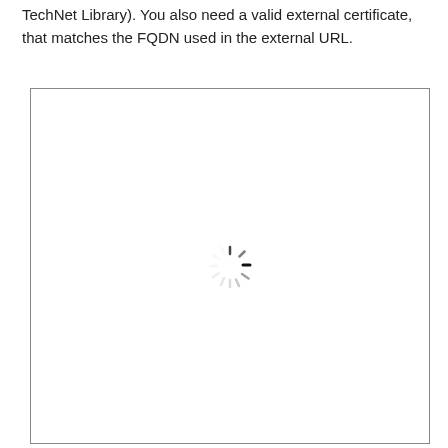TechNet Library). You also need a valid external certificate, that matches the FQDN used in the external URL.
[Figure (screenshot): A white box with a loading spinner (animated circular dashes) centered in the middle, indicating content is loading.]